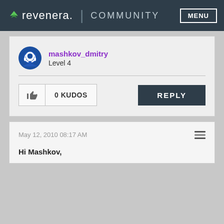revenera. COMMUNITY MENU
mashkov_dmitry
Level 4
0 KUDOS
REPLY
May 12, 2010 08:17 AM
Hi Mashkov,